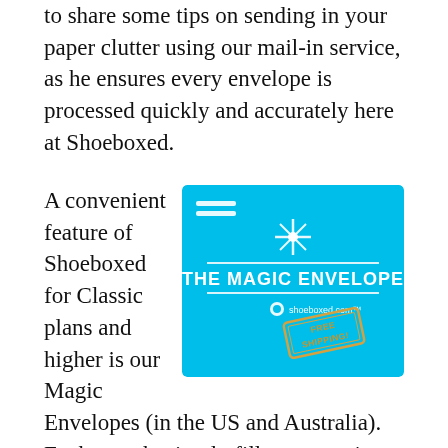to share some tips on sending in your paper clutter using our mail-in service, as he ensures every envelope is processed quickly and accurately here at Shoeboxed.
[Figure (illustration): The Magic Envelope from Shoeboxed — a blue prepaid mailer envelope with white text reading 'THE MAGIC ENVELOPE', shoeboxed.com logo, and a 'FREE SHIPPING!' stamp in the lower right corner.]
A convenient feature of Shoeboxed for Classic plans and higher is our Magic Envelopes (in the US and Australia). Each month, simply fill your magic envelope with receipts, bills and any documents you'd like, and drop it in the mail. Once we safely receive your documents, we'll